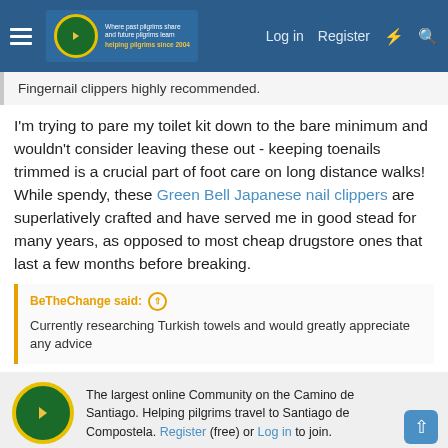Forum navigation bar with hamburger menu, IVAR logo, Log in, Register, and search icons
Fingernail clippers highly recommended.
I'm trying to pare my toilet kit down to the bare minimum and wouldn't consider leaving these out - keeping toenails trimmed is a crucial part of foot care on long distance walks! While spendy, these Green Bell Japanese nail clippers are superlatively crafted and have served me in good stead for many years, as opposed to most cheap drugstore ones that last a few months before breaking.
BeTheChange said: ↑
Currently researching Turkish towels and would greatly appreciate any advice
The largest online Community on the Camino de Santiago. Helping pilgrims travel to Santiago de Compostela. Register (free) or Log in to join.